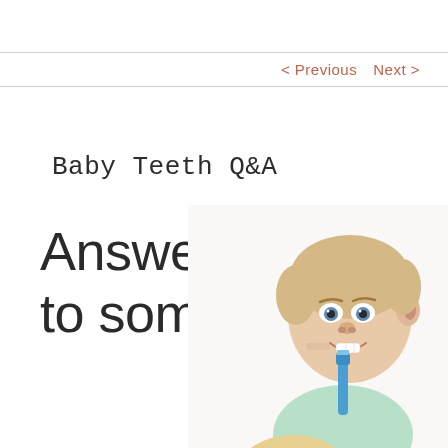< Previous   Next >
Baby Teeth Q&A
Answers to some
[Figure (photo): Two smiling children, one older boy pointing to his teeth with a blue toothbrush, and a younger blond child below, on a white background]